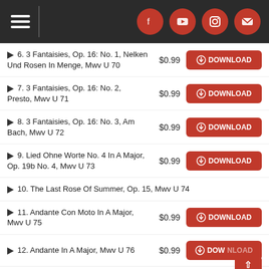Navigation header with menu icon and social icons (Facebook, YouTube, Instagram, Email)
6. 3 Fantaisies, Op. 16: No. 1, Nelken Und Rosen In Menge, Mwv U 70 — $0.99 DOWNLOAD
7. 3 Fantaisies, Op. 16: No. 2, Presto, Mwv U 71 — $0.99 DOWNLOAD
8. 3 Fantaisies, Op. 16: No. 3, Am Bach, Mwv U 72 — $0.99 DOWNLOAD
9. Lied Ohne Worte No. 4 In A Major, Op. 19b No. 4, Mwv U 73 — $0.99 DOWNLOAD
10. The Last Rose Of Summer, Op. 15, Mwv U 74
11. Andante Con Moto In A Major, Mwv U 75 — $0.99 DOWNLOAD
12. Andante In A Major, Mwv U 76 — $0.99 DOWNLOAD
13. Lied Ohne Worte No. 8 In B-Flat Minor, Op. 30 No. 2, Mwv U 77 — $0.99 DOWNLOAD